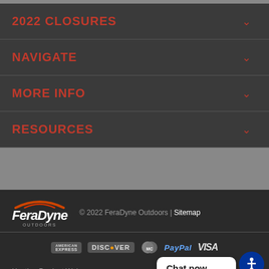2022 CLOSURES
NAVIGATE
MORE INFO
RESOURCES
[Figure (logo): FeraDyne Outdoors logo with swoosh arc]
© 2022 FeraDyne Outdoors | Sitemap
[Figure (infographic): Payment method icons: American Express, Discover, MasterCard, PayPal, VISA]
Hunting Product Webs...
Chat now